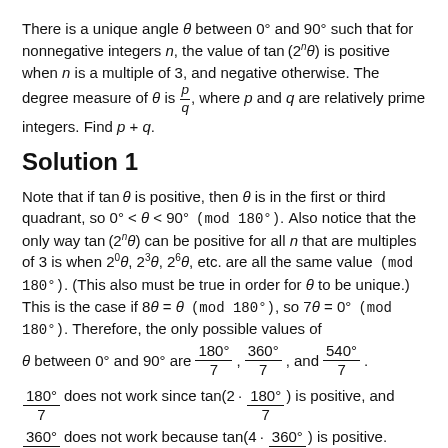There is a unique angle θ between 0° and 90° such that for nonnegative integers n, the value of tan(2ⁿθ) is positive when n is a multiple of 3, and negative otherwise. The degree measure of θ is p/q, where p and q are relatively prime integers. Find p + q.
Solution 1
Note that if tan θ is positive, then θ is in the first or third quadrant, so 0° < θ < 90° (mod 180°). Also notice that the only way tan(2ⁿθ) can be positive for all n that are multiples of 3 is when 2⁰θ, 2³θ, 2⁶θ, etc. are all the same value (mod 180°). (This also must be true in order for θ to be unique.) This is the case if 8θ = θ (mod 180°), so 7θ = 0° (mod 180°). Therefore, the only possible values of θ between 0° and 90° are 180°/7, 360°/7, and 540°/7.
180°/7 does not work since tan(2 · 180°/7) is positive, and 360°/7 does not work because tan(4 · 360°/7) is positive.